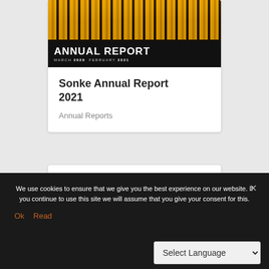[Figure (photo): Annual Report cover image showing people in yellow shirts with backs to camera, with black bar overlay showing 'ANNUAL REPORT MARCH 2020 FEBRUARY 2021']
Sonke Annual Report 2021
Annual Reports
We use cookies to ensure that we give you the best experience on our website. If you continue to use this site we will assume that you give your consent for this.